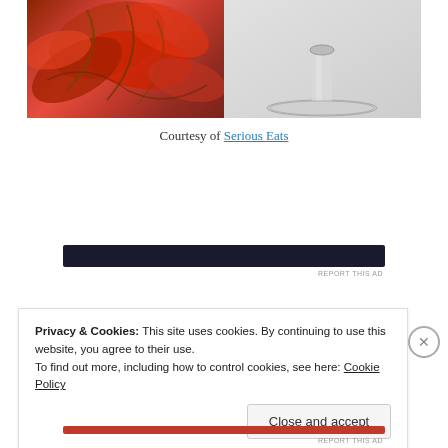[Figure (photo): Photo of autumn red/orange leaves on left side and base of a glass on right side, on a white background]
Courtesy of Serious Eats
[Figure (other): Dark advertisement banner, mostly obscured]
REPORT THIS AD
Privacy & Cookies: This site uses cookies. By continuing to use this website, you agree to their use.
To find out more, including how to control cookies, see here: Cookie Policy
Close and accept